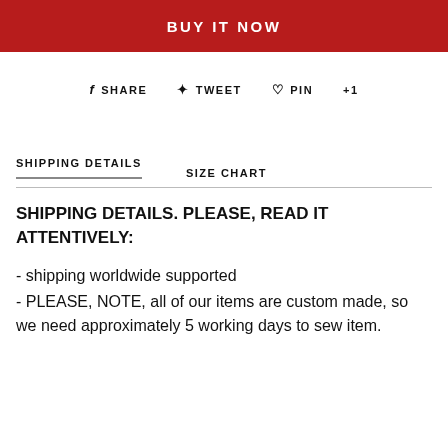BUY IT NOW
f SHARE   ✦ TWEET   ♡ PIN   +1
SHIPPING DETAILS   SIZE CHART
SHIPPING DETAILS. PLEASE, READ IT ATTENTIVELY:
- shipping worldwide supported
- PLEASE, NOTE, all of our items are custom made, so we need approximately 5 working days to sew item.